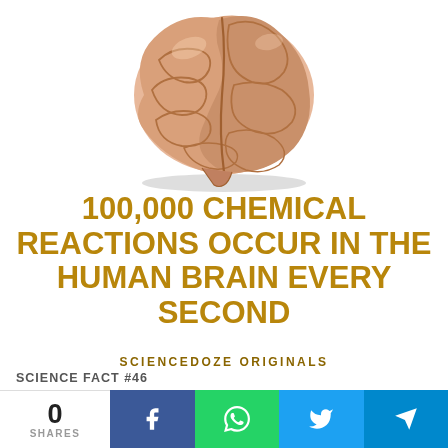[Figure (illustration): 3D rendered human brain floating above a shadow, viewed from the side, pinkish-tan color on white background]
100,000 CHEMICAL REACTIONS OCCUR IN THE HUMAN BRAIN EVERY SECOND
SCIENCEDOZE ORIGINALS
SCIENCE FACT #46
[Figure (photo): Outdoor photo showing green landscape with a person wearing a hat, partially visible]
0 SHARES